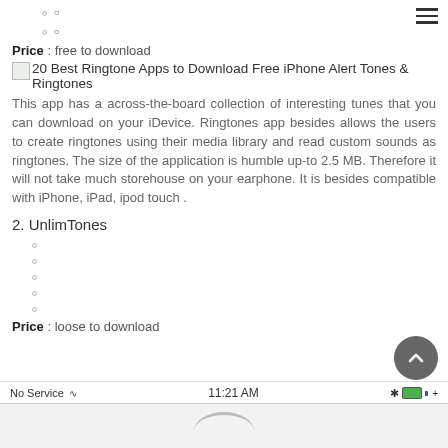○
○
Price : free to download
[Figure (screenshot): Small thumbnail image placeholder for ringtone app]
20 Best Ringtone Apps to Download Free iPhone Alert Tones & Ringtones
This app has a across-the-board collection of interesting tunes that you can download on your iDevice. Ringtones app besides allows the users to create ringtones using their media library and read custom sounds as ringtones. The size of the application is humble up-to 2.5 MB. Therefore it will not take much storehouse on your earphone. It is besides compatible with iPhone, iPad, ipod touch .
2. UnlimTones
○
○
○
○
○
Price : loose to download
No Service  11:21 AM